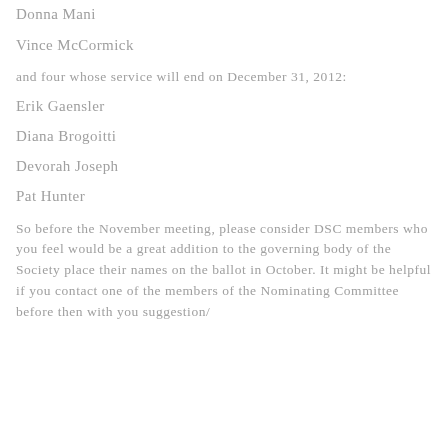Donna Mani
Vince McCormick
and four whose service will end on December 31, 2012:
Erik Gaensler
Diana Brogoitti
Devorah Joseph
Pat Hunter
So before the November meeting, please consider DSC members who you feel would be a great addition to the governing body of the Society place their names on the ballot in October. It might be helpful if you contact one of the members of the Nominating Committee before then with you suggestion/